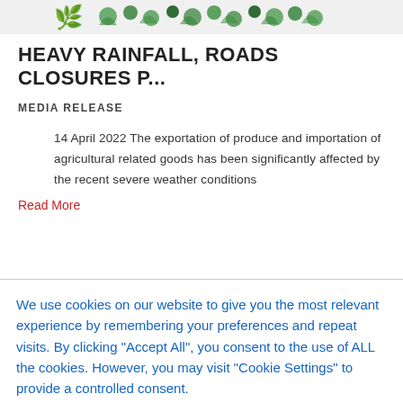[Figure (logo): Decorative icon/logo banner at the top of the page with green leaf/plant motifs on a light background]
HEAVY RAINFALL, ROADS CLOSURES P...
MEDIA RELEASE
14 April 2022 The exportation of produce and importation of agricultural related goods has been significantly affected by the recent severe weather conditions
Read More
We use cookies on our website to give you the most relevant experience by remembering your preferences and repeat visits. By clicking "Accept All", you consent to the use of ALL the cookies. However, you may visit "Cookie Settings" to provide a controlled consent.
Cookie Settings | Accept All